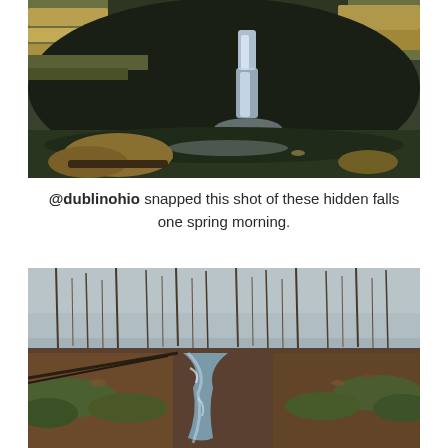[Figure (photo): A waterfall cascading down layered limestone rock formations into a dark pool below, surrounded by mossy cliff walls. Shot from inside a cave or rock overhang looking out.]
@dublinohio snapped this shot of these hidden falls one spring morning.
[Figure (photo): A woodland stream winding through a forest in early spring. Bare deciduous trees line the banks, mossy green rocks border the creek, and dead leaves cover the ground. Misty light filters through the trees.]